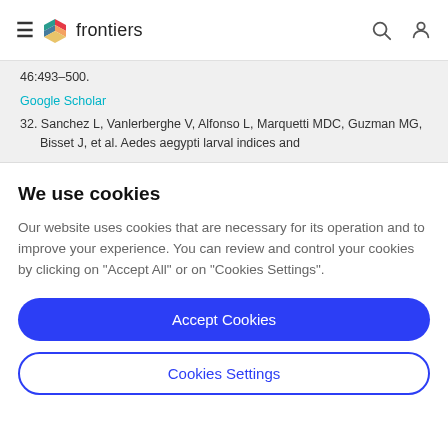frontiers
46:493–500.
Google Scholar
32. Sanchez L, Vanlerberghe V, Alfonso L, Marquetti MDC, Guzman MG, Bisset J, et al. Aedes aegypti larval indices and
We use cookies
Our website uses cookies that are necessary for its operation and to improve your experience. You can review and control your cookies by clicking on "Accept All" or on "Cookies Settings".
Accept Cookies
Cookies Settings